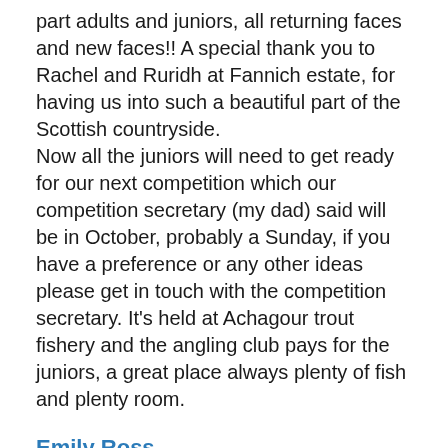part adults and juniors, all returning faces and new faces!! A special thank you to Rachel and Ruridh at Fannich estate, for having us into such a beautiful part of the Scottish countryside.
Now all the juniors will need to get ready for our next competition which our competition secretary (my dad) said will be in October, probably a Sunday, if you have a preference or any other ideas please get in touch with the competition secretary. It's held at Achagour trout fishery and the angling club pays for the juniors, a great place always plenty of fish and plenty room.
Emily Ross